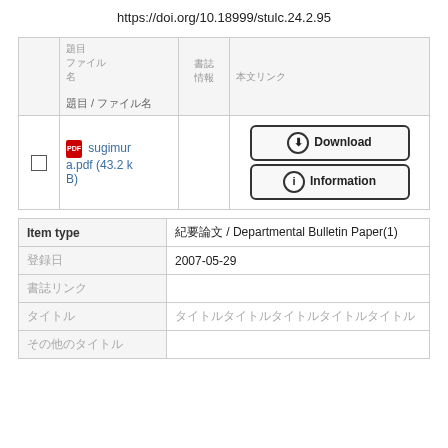https://doi.org/10.18999/stulc.24.2.95
|  | 題目 / ファイル名 | 書誌情報 | 本文 |
| --- | --- | --- | --- |
| ☐ | 📄 sugimura.pdf (43.2 kB) |  | Download / Information |
| Item type | 紀要論文 / Departmental Bulletin Paper(1) |
| --- | --- |
| 登録日 | 2007-05-29 |
| 書誌リンク |  |
| タイトル | タイトルタイトルタイトルタイトルタイトル |
| その他のタイトル |  |